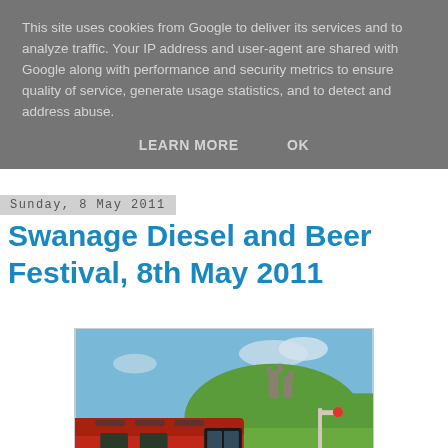This site uses cookies from Google to deliver its services and to analyze traffic. Your IP address and user-agent are shared with Google along with performance and security metrics to ensure quality of service, generate usage statistics, and to detect and address abuse.
LEARN MORE   OK
Sunday, 8 May 2011
Swanage Diesel and Beer Festival, 8th May 2011
[Figure (photo): A red diesel locomotive labeled 'Western Courier' on a railway track, with a ruined castle on a hill and green grass in the background under a blue sky.]